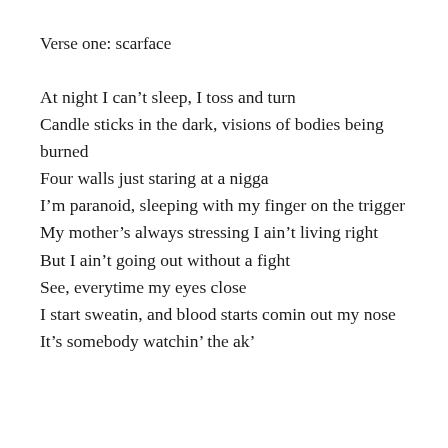Verse one: scarface
At night I can’t sleep, I toss and turn
Candle sticks in the dark, visions of bodies being burned
Four walls just staring at a nigga
I’m paranoid, sleeping with my finger on the trigger
My mother’s always stressing I ain’t living right
But I ain’t going out without a fight
See, everytime my eyes close
I start sweatin, and blood starts comin out my nose
It’s somebody watchin’ the ak’